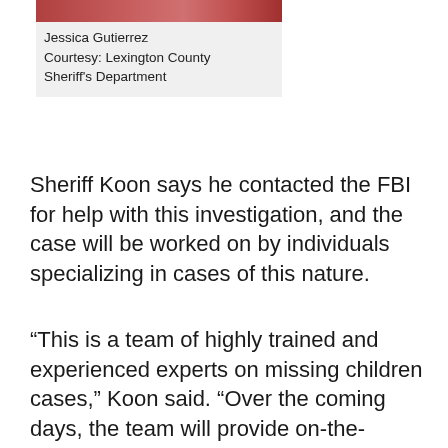[Figure (photo): Partial photo of Jessica Gutierrez, cropped at top of page]
Jessica Gutierrez
Courtesy: Lexington County Sheriff's Department
Sheriff Koon says he contacted the FBI for help with this investigation, and the case will be worked on by individuals specializing in cases of this nature.
“This is a team of highly trained and experienced experts on missing children cases,” Koon said. “Over the coming days, the team will provide on-the-ground investigative, technical, behavioral analysis and analytical support to find out more about what happened to Jessie.”
While more agencies are now involved in this case, the sheriff says it is still important to utilize help